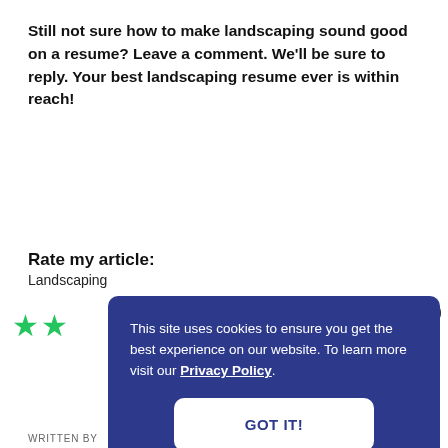Still not sure how to make landscaping sound good on a resume? Leave a comment. We'll be sure to reply. Your best landscaping resume ever is within reach!
Rate my article:
Landscaping
This site uses cookies to ensure you get the best experience on our website. To learn more visit our Privacy Policy.
GOT IT!
WRITTEN BY